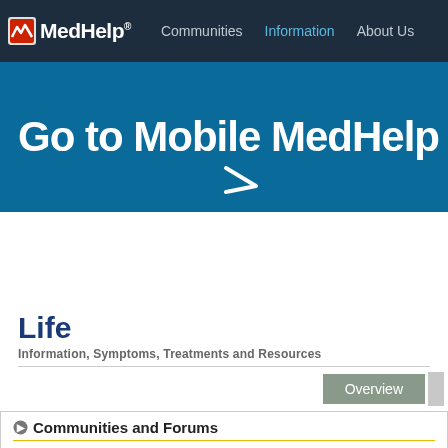MedHelp   Communities   Information   About Us
[Figure (screenshot): MedHelp website banner reading 'Go to Mobile MedHelp' on a dark blue background with a white arrow]
Life
Information, Symptoms, Treatments and Resources
Overview
Communities and Forums